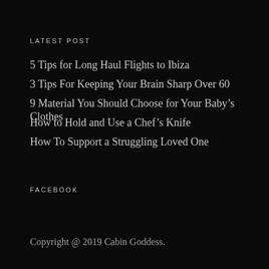LATEST POST
5 Tips for Long Haul Flights to Ibiza
3 Tips For Keeping Your Brain Sharp Over 60
9 Material You Should Choose for Your Baby’s Clothes
How to Hold and Use a Chef’s Knife
How To Support a Struggling Loved One
FACEBOOK
Copyright @ 2019 Cabin Goddess.